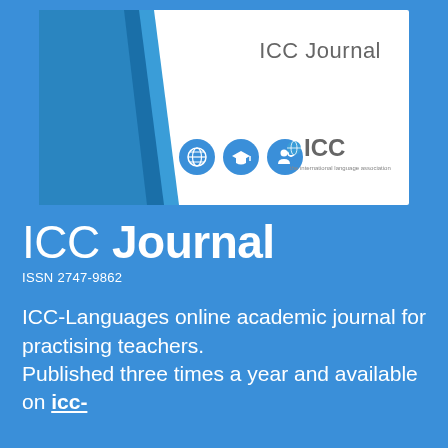[Figure (illustration): ICC Journal cover image showing blue diagonal design with ICC logo, three blue circular icons (globe, graduation cap, person), and 'ICC Journal' text header on white background]
ICC Journal
ISSN 2747-9862
ICC-Languages online academic journal for practising teachers. Published three times a year and available on icc-